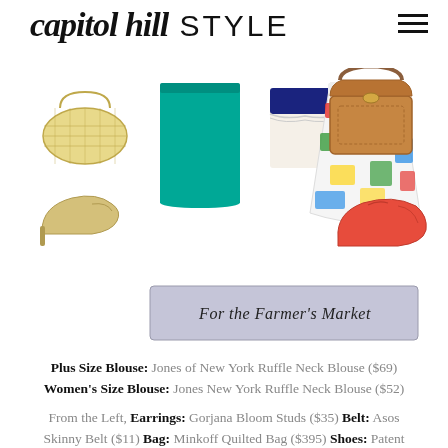capitol hill STYLE
[Figure (photo): Fashion collage showing: a gold/cream woven bag, gold kitten heel pumps, a teal/jade pencil skirt, a navy and cream striped blouse, a colorful floral/abstract full skirt, a tan structured leather bag, and orange/coral ballet flats. A lavender banner reads 'For the Farmer's Market'.]
Plus Size Blouse: Jones of New York Ruffle Neck Blouse ($69) Women's Size Blouse: Jones New York Ruffle Neck Blouse ($52)
From the Left, Earrings: Gorjana Bloom Studs ($35) Belt: Asos Skinny Belt ($11) Bag: Minkoff Quilted Bag ($395) Shoes: Patent Kitten Pump ($26) Cardigan: Featherweight Cashmere Cardigan ($178) Skirt: Jade Pencil Skirt ($35)